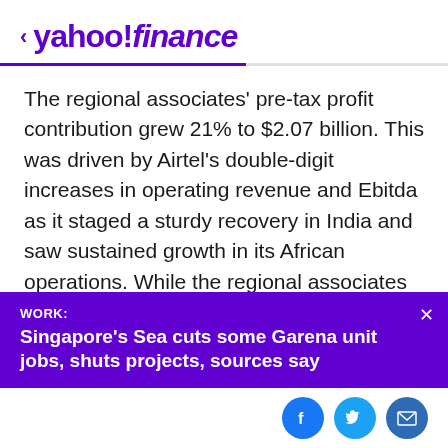< yahoo!finance
The regional associates' pre-tax profit contribution grew 21% to $2.07 billion. This was driven by Airtel's double-digit increases in operating revenue and Ebitda as it staged a sturdy recovery in India and saw sustained growth in its African operations. While the regional associates were impacted by Covid-related movement restrictions, Globe's performance was further affected by Typhoon Odette in the Philippines as well as an increase in depreciation and finance charges. AIS also faced
WORK:
Singapore's Sea cuts some Garena unit jobs, shuts projects, sources say